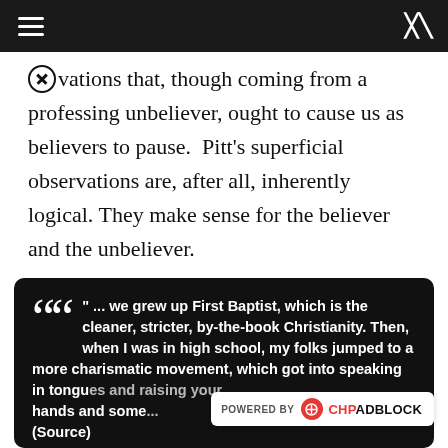≡  [shuffle icon]
observations that, though coming from a professing unbeliever, ought to cause us as believers to pause.  Pitt's superficial observations are, after all, inherently logical. They make sense for the believer and the unbeliever.
[Figure (screenshot): Dark quote block with large opening quotation mark and white bold text: " ... we grew up First Baptist, which is the cleaner, stricter, by-the-book Christianity. Then, when I was in high school, my folks jumped to a more charismatic movement, which got into speaking in tongues and raising your hands and some... (Source)]
[Figure (logo): POWERED BY CHPADBLOCK ad overlay in bottom right corner]